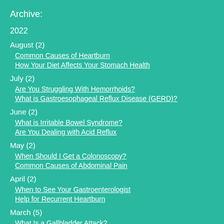Archive:
2022
August (2)
Common Causes of Heartburn
How Your Diet Affects Your Stomach Health
July (2)
Are You Struggling With Hemorrhoids?
What is Gastroesophageal Reflux Disease (GERD)?
June (2)
What is Irritable Bowel Syndrome?
Are You Dealing with Acid Reflux
May (2)
When Should I Get a Colonoscopy?
Common Causes of Abdominal Pain
April (2)
When to See Your Gastroenterologist
Help for Recurrent Heartburn
March (5)
What Is a Gallbladder Attack?